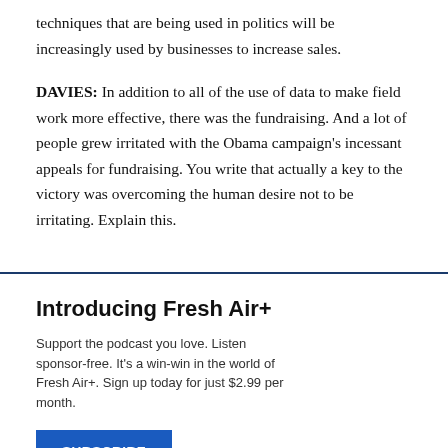techniques that are being used in politics will be increasingly used by businesses to increase sales.
DAVIES: In addition to all of the use of data to make field work more effective, there was the fundraising. And a lot of people grew irritated with the Obama campaign's incessant appeals for fundraising. You write that actually a key to the victory was overcoming the human desire not to be irritating. Explain this.
Introducing Fresh Air+
Support the podcast you love. Listen sponsor-free. It's a win-win in the world of Fresh Air+. Sign up today for just $2.99 per month.
SUBSCRIBE